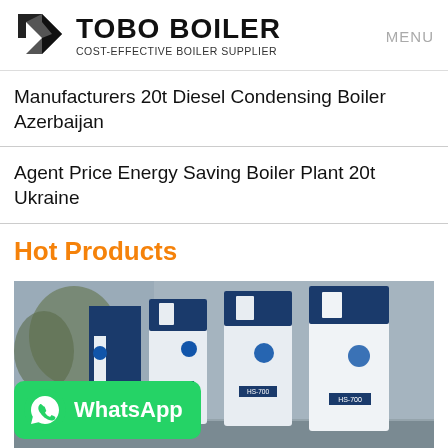TOBO BOILER — COST-EFFECTIVE BOILER SUPPLIER
Manufacturers 20t Diesel Condensing Boiler Azerbaijan
Agent Price Energy Saving Boiler Plant 20t Ukraine
Hot Products
[Figure (photo): Row of blue and white industrial boiler units (model HS-700) installed outdoors against a grey wall with trees in background. WhatsApp button overlay in bottom-left corner.]